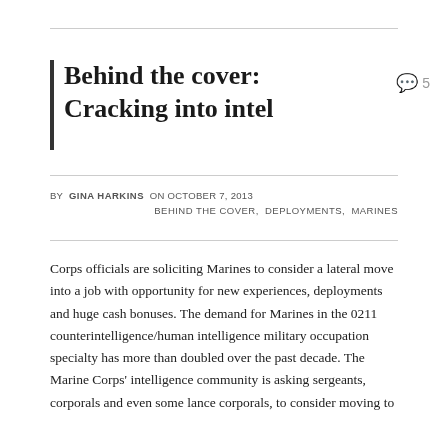Behind the cover: Cracking into intel
BY GINA HARKINS ON OCTOBER 7, 2013
BEHIND THE COVER, DEPLOYMENTS, MARINES
Corps officials are soliciting Marines to consider a lateral move into a job with opportunity for new experiences, deployments and huge cash bonuses. The demand for Marines in the 0211 counterintelligence/human intelligence military occupation specialty has more than doubled over the past decade. The Marine Corps' intelligence community is asking sergeants, corporals and even some lance corporals, to consider moving to